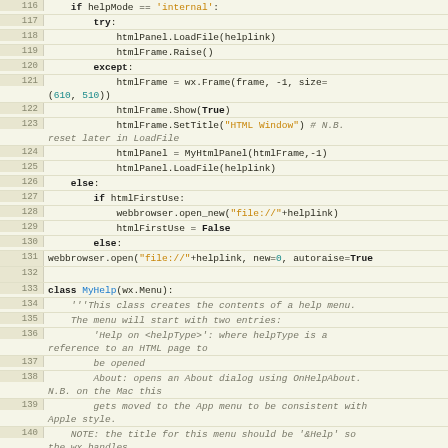[Figure (screenshot): Python source code listing, lines 116-141, showing code for help window handling and MyHelp class definition with docstring comments.]